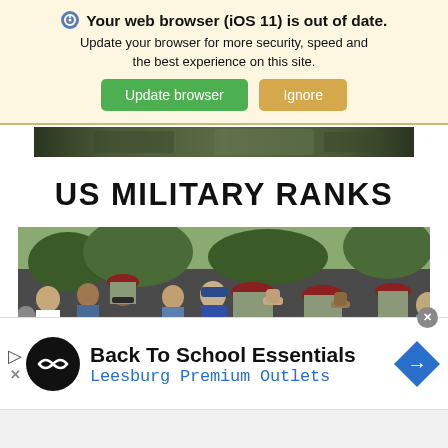Your web browser (iOS 11) is out of date. Update your browser for more security, speed and the best experience on this site. Update browser | Ignore
[Figure (photo): Partial top portion of a military scene, cropped — green/camouflage tones at top of page]
US MILITARY RANKS
[Figure (photo): US military soldiers wearing red berets saluting, outdoors among a crowd of civilians]
Back To School Essentials
Leesburg Premium Outlets